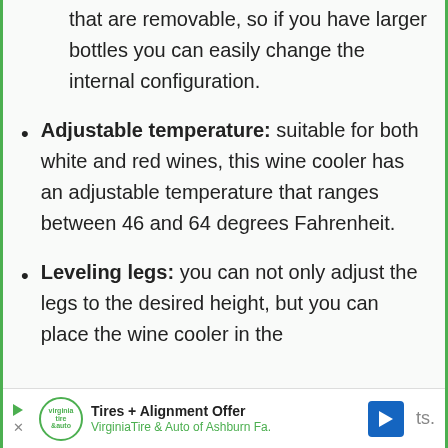that are removable, so if you have larger bottles you can easily change the internal configuration.
Adjustable temperature: suitable for both white and red wines, this wine cooler has an adjustable temperature that ranges between 46 and 64 degrees Fahrenheit.
Leveling legs: you can not only adjust the legs to the desired height, but you can place the wine cooler in the [continues]
[Figure (other): Advertisement banner: Tires + Alignment Offer - Virginia Tire & Auto of Ashburn Fa. with logo and navigation arrow icon]